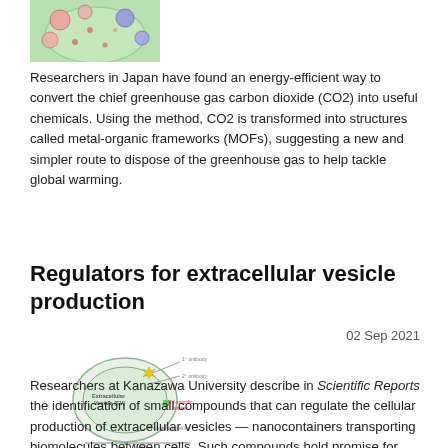[Figure (illustration): Microscopy image showing cells with colorful circular structures on a green background]
Researchers in Japan have found an energy-efficient way to convert the chief greenhouse gas carbon dioxide (CO2) into useful chemicals. Using the method, CO2 is transformed into structures called metal-organic frameworks (MOFs), suggesting a new and simpler route to dispose of the greenhouse gas to help tackle global warming.
Regulators for extracellular vesicle production
02 Sep 2021
[Figure (illustration): Diagram of an extracellular vesicle (EV) showing antibodies, EV-specific marker, phosphatidylserine, and TONA label]
Researchers at Kanazawa University describe in Scientific Reports the identification of small compounds that can regulate the cellular production of extracellular vesicles — nanocontainers transporting biomolecules between cells. Such compounds hold promise for use in